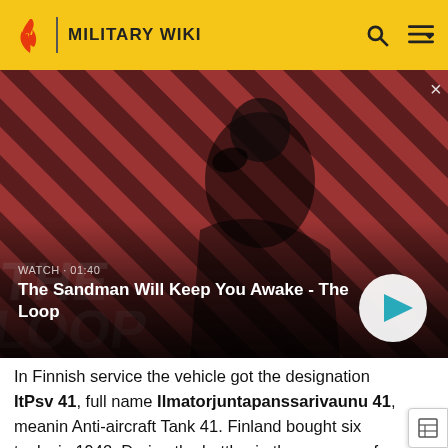MILITARY WIKI
[Figure (screenshot): Video advertisement banner showing a dark-clad figure with a raven on shoulder against a red and black diagonal striped background. Text reads 'WATCH · 01:40' and 'The Sandman Will Keep You Awake - The Loop' with a play button.]
In Finnish service the vehicle got the designation ItPsv 41, full name Ilmatorjuntapanssarivaunu 41, meaning Anti-aircraft Tank 41. Finland bought six tanks in 1942. During the battles in the summer of 1944, the Finnish tanks downed eleven Soviet aircraft and thus prevented attacks against the tank brigade. [citation needed] All vehicles